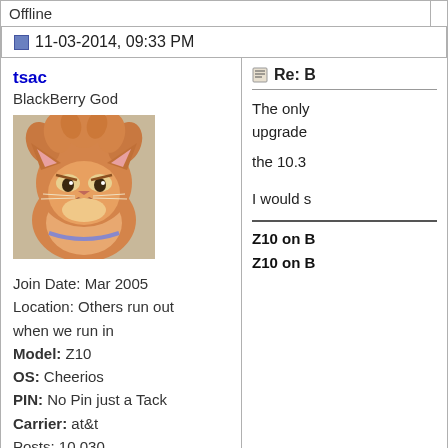Offline
11-03-2014, 09:33 PM
tsac
BlackBerry God
Join Date: Mar 2005
Location: Others run out when we run in
Model: Z10
OS: Cheerios
PIN: No Pin just a Tack
Carrier: at&t
Posts: 10,030
Offline
[Figure (photo): Avatar photo of a grumpy-looking orange fluffy cat with disheveled fur]
Re: B...
The only upgrade
the 10.3
I would s...
Z10 on B...
Z10 on B...
CLOSED